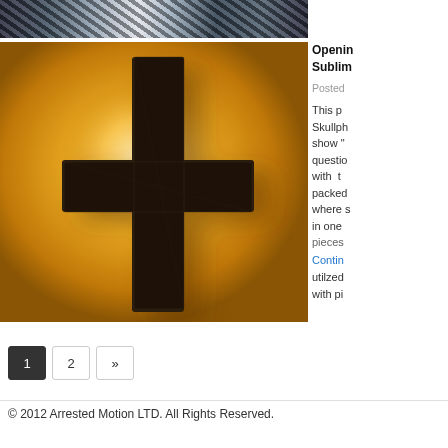[Figure (photo): Dark cross-patterned artwork at top of page, appearing to be a banner image]
[Figure (photo): Photograph of a large dark cross (made of small studs/rhinestones) mounted on a warm yellow-orange illuminated wall, backlit with warm golden light. The cross casts a shadow on the wall behind it.]
Opening Sublim
Posted
This p Skullph show " questio with t packed where s in one pieces Continue utilzed with pi
1
2
»
© 2012 Arrested Motion LTD. All Rights Reserved.